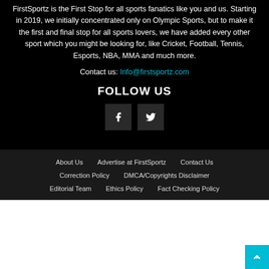FirstSportz is the First Stop for all sports fanatics like you and us. Starting in 2019, we initially concentrated only on Olympic Sports, but to make it the first and final stop for all sports lovers, we have added every other sport which you might be looking for, like Cricket, Football, Tennis, Esports, NBA, MMA and much more.
Contact us: Info@firstsportz.com
FOLLOW US
[Figure (other): Facebook and Twitter social media icon buttons in dark square boxes]
About Us | Advertise at FirstSportz | Contact Us | Correction Policy | DMCA/Copyrights Disclaimer | Editorial Team | Ethics Policy | Fact Checking Policy